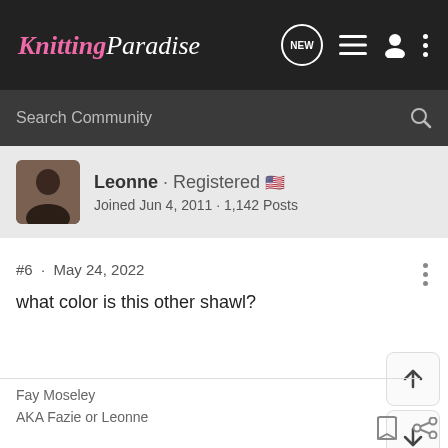Knitting Paradise
Search Community
Leonne · Registered 🇺🇸
Joined Jun 4, 2011 · 1,142 Posts
#6 · May 24, 2022
what color is this other shawl?
Fay Moseley
AKA Fazie or Leonne